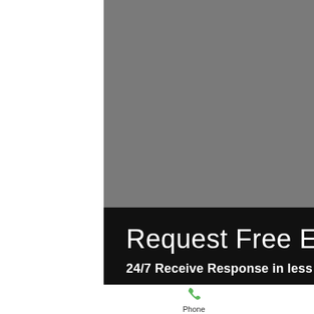[Figure (photo): Gray placeholder image area occupying upper portion of the page]
Request Free Estimate
24/7 Receive Response in less than 2 hrs
Phone | Email | Facebook